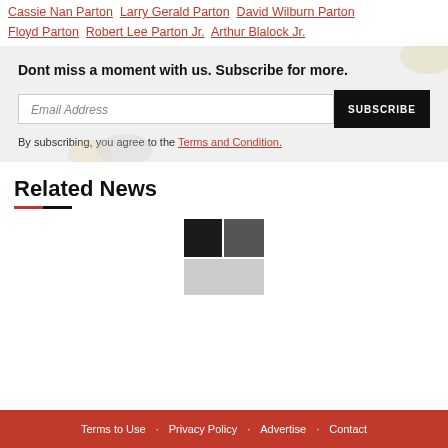Cassie Nan Parton   Larry Gerald Parton   David Wilburn Parton   Floyd Parton   Robert Lee Parton Jr.   Arthur Blalock Jr.
[Figure (infographic): Newsletter subscription box with email input and subscribe button on light gray background, with decorative elements]
Dont miss a moment with us. Subscribe for more.
By subscribing, you agree to the Terms and Condition.
Related News
[Figure (other): Small placeholder image grid showing dark/gray squares]
Terms to Use  ·  Privacy Policy  ·  Advertise  ·  Contact